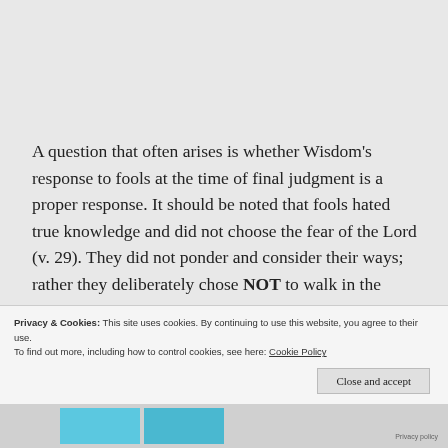A question that often arises is whether Wisdom's response to fools at the time of final judgment is a proper response. It should be noted that fools hated true knowledge and did not choose the fear of the Lord (v. 29). They did not ponder and consider their ways; rather they deliberately chose NOT to walk in the ways of the Lord and sanctioned other lifestyles. Wisdom's
Privacy & Cookies: This site uses cookies. By continuing to use this website, you agree to their use.
To find out more, including how to control cookies, see here: Cookie Policy